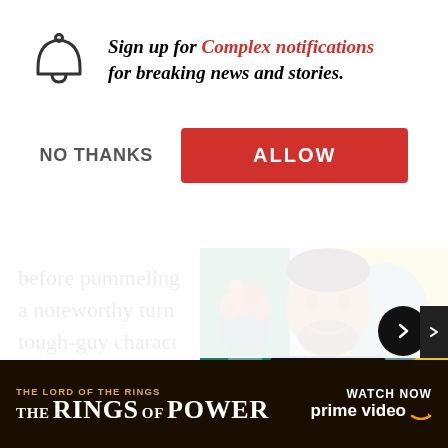[Figure (screenshot): Browser notification permission dialog with bell icon, italic bold text 'Sign up for Complex notifications for breaking news and stories.' with 'Complex notifications' in red. Two buttons: 'NO THANKS' (grey text) and 'ALLOW' (red button).]
before pummeling a noteworthy turn tough-guy charact Kilmer as Greene's
[Figure (photo): Photo of a smiling man with beard standing in front of colorful artworks including a painting of a figure with a flower head. Navigation arrow button on right.]
Visual Artist NashidChromaIsMaking ArtThat Blossoms|Northern Clutch
The gangster genr Sopranos called it Irishman's endearment could be attributed to its void-fillin and
[Figure (screenshot): Ad banner for 'The Lord of the Rings: The Rings of Power' on Prime Video with dark golden background. Left side: 'THE LORD OF THE RINGS' subtext, 'THE RINGS OF POWER' in large font. Right: 'WATCH NOW prime video' with Amazon logo.]